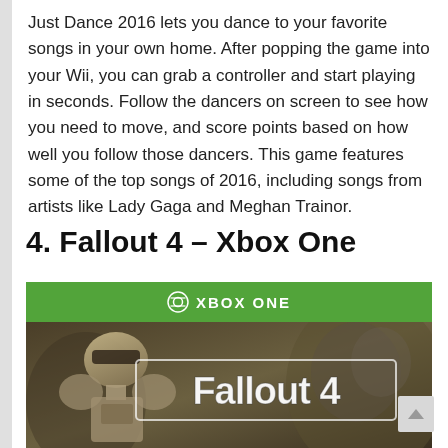Just Dance 2016 lets you dance to your favorite songs in your own home. After popping the game into your Wii, you can grab a controller and start playing in seconds. Follow the dancers on screen to see how you need to move, and score points based on how well you follow those dancers. This game features some of the top songs of 2016, including songs from artists like Lady Gaga and Meghan Trainor.
4. Fallout 4 – Xbox One
[Figure (photo): Fallout 4 Xbox One game cover showing the game title 'Fallout 4' in white lettering over a post-apocalyptic robot/power armor image, with a green Xbox One banner at the top]